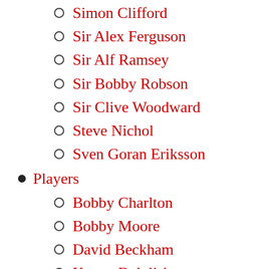Simon Clifford
Sir Alex Ferguson
Sir Alf Ramsey
Sir Bobby Robson
Sir Clive Woodward
Steve Nichol
Sven Goran Eriksson
Players
Bobby Charlton
Bobby Moore
David Beckham
Kenny Dalglish
Michael Owen
Sebastian Deisler
Sir Tom Finney
Psychology